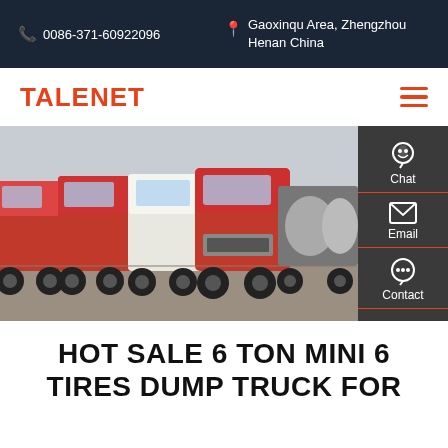0086-371-60922096   Gaoxinqu Area, Zhengzhou Henan China
TALENET
[Figure (photo): A row of red and white heavy-duty trucks parked in a lot, with a side panel showing Chat, Email, Contact, and Top icons on the right]
HOT SALE 6 TON MINI 6 TIRES DUMP TRUCK FOR